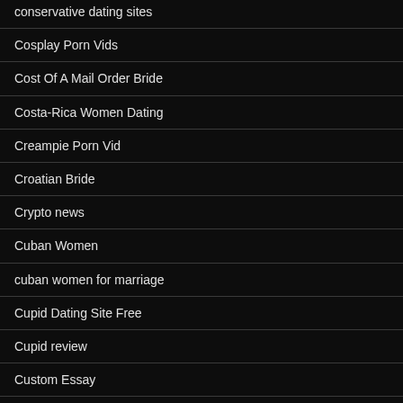conservative dating sites
Cosplay Porn Vids
Cost Of A Mail Order Bride
Costa-Rica Women Dating
Creampie Porn Vid
Croatian Bride
Crypto news
Cuban Women
cuban women for marriage
Cupid Dating Site Free
Cupid review
Custom Essay
Custom Essay Help